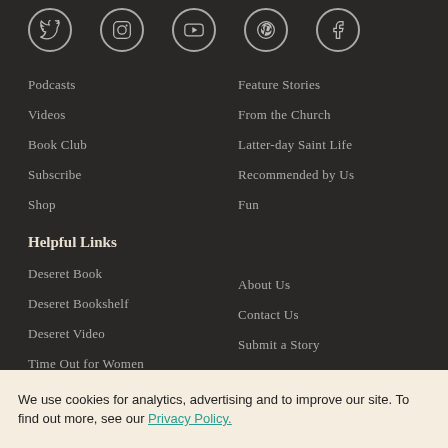[Figure (other): Row of 5 social media icon circles: Twitter, Instagram, YouTube, Pinterest, Facebook]
Podcasts
Videos
Book Club
Subscribe
Shop
Feature Stories
From the Church
Latter-day Saint Life
Recommended by Us
Fun
Helpful Links
Deseret Book
Deseret Bookshelf
Deseret Video
Time Out for Women
About Us
Contact Us
Submit a Story
Advertise
We use cookies for analytics, advertising and to improve our site. To find out more, see our Privacy Policy.